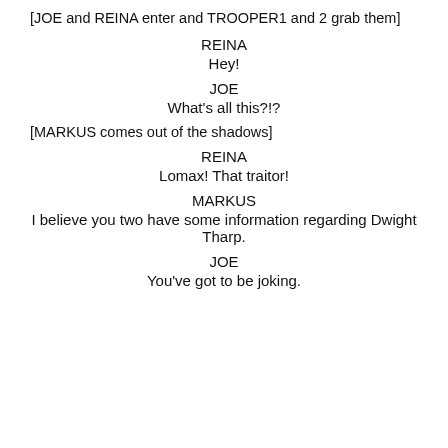[JOE and REINA enter and TROOPER1 and 2 grab them]
REINA
Hey!
JOE
What's all this?!?
[MARKUS comes out of the shadows]
REINA
Lomax! That traitor!
MARKUS
I believe you two have some information regarding Dwight Tharp.
JOE
You've got to be joking.